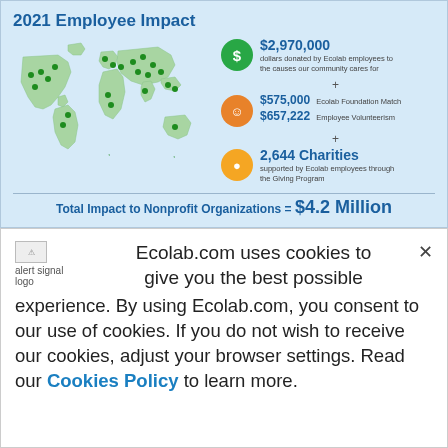[Figure (infographic): 2021 Employee Impact infographic with world map showing green highlighted regions and location markers, alongside statistics: $2,970,000 dollars donated by Ecolab employees to community causes; $575,000 Ecolab Foundation Match; $657,222 Employee Volunteerism; 2,644 Charities supported through Giving Program. Total Impact to Nonprofit Organizations = $4.2 Million.]
Ecolab.com uses cookies to give you the best possible experience. By using Ecolab.com, you consent to our use of cookies. If you do not wish to receive our cookies, adjust your browser settings. Read our Cookies Policy to learn more.